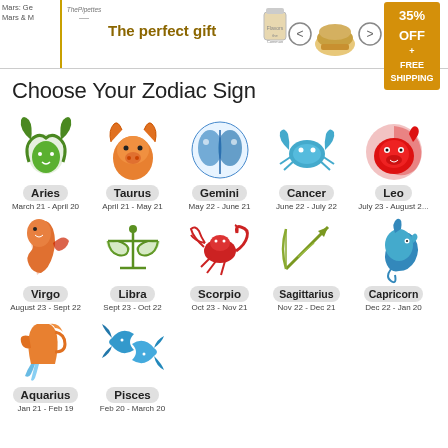[Figure (infographic): Advertisement banner: 'The perfect gift' with food imagery, arrows, 35% OFF + FREE SHIPPING offer, and close button]
Choose Your Zodiac Sign
[Figure (infographic): Grid of 12 zodiac sign icons with names and date ranges: Aries (March 21 - April 20), Taurus (April 21 - May 21), Gemini (May 22 - June 21), Cancer (June 22 - July 22), Leo (July 23 - August 22), Virgo (August 23 - Sept 22), Libra (Sept 23 - Oct 22), Scorpio (Oct 23 - Nov 21), Sagittarius (Nov 22 - Dec 21), Capricorn (Dec 22 - Jan 20), Aquarius (Jan 21 - Feb 19), Pisces (Feb 20 - March 20)]